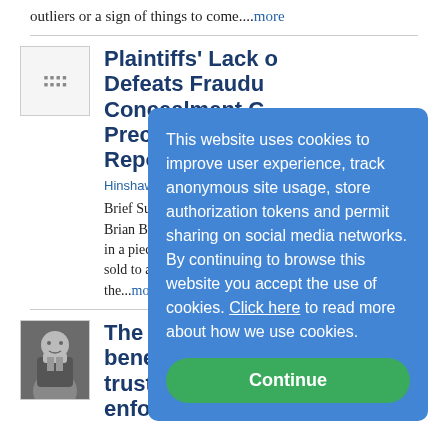outliers or a sign of things to come....more
Plaintiffs' Lack of... Defeats Fraudulent Concealment Cl... Precludes Tolling... Repose
Hinshaw & Culbertson - Law...
Brief Summary - Three bro... Brian Brandolino (plaintiffs... in a piece of real property (R... sold to a bank in 2005. In 20... the...more
The contingent b... beneficiaries of... trust may seek judicial enforcement of its terms...
[Figure (other): Cookie consent overlay with blue background, text about cookies policy, and green Continue button]